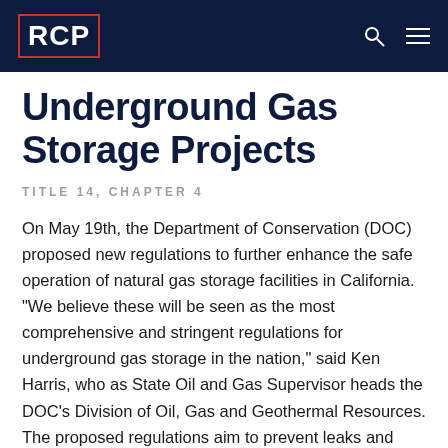RCP
Underground Gas Storage Projects
TITLE 14, CHAPTER 4
On May 19th, the Department of Conservation (DOC) proposed new regulations to further enhance the safe operation of natural gas storage facilities in California. “We believe these will be seen as the most comprehensive and stringent regulations for underground gas storage in the nation,” said Ken Harris, who as State Oil and Gas Supervisor heads the DOC’s Division of Oil, Gas and Geothermal Resources. The proposed regulations aim to prevent leaks and include